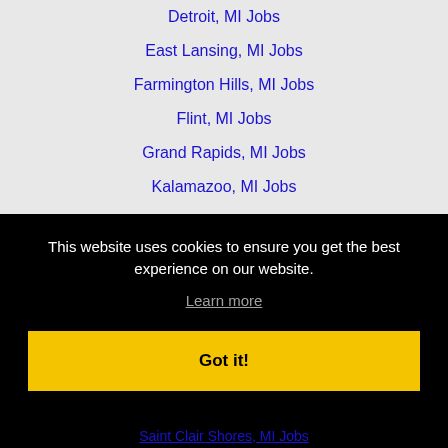Detroit, MI Jobs
East Lansing, MI Jobs
Farmington Hills, MI Jobs
Flint, MI Jobs
Grand Rapids, MI Jobs
Kalamazoo, MI Jobs
Kentwood, MI Jobs
Livonia, MI Jobs
Midland, MI Jobs
Novi, MI Jobs
This website uses cookies to ensure you get the best experience on our website.
Learn more
Got it!
Saint Clair Shores, MI Jobs